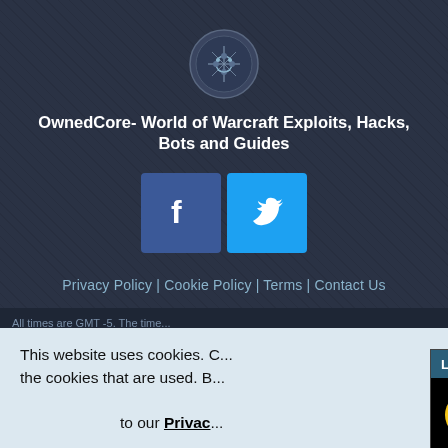[Figure (logo): OwnedCore website logo - circular emblem with circuit/face design]
OwnedCore- World of Warcraft Exploits, Hacks, Bots and Guides
[Figure (other): Facebook and Twitter social media icon buttons]
Privacy Policy | Cookie Policy | Terms | Contact Us
Available Payment Methods:
[Figure (other): PayPal, Skrill, and PayOp payment method logos]
All times are GMT -5. The time...
[Figure (screenshot): Video popup overlay showing 'Leroy Chiao on NASA Delay of the Arte...' with loading spinner and mute button on black background]
This website uses cookies. C... the cookies that are used. B...
to our Privac...